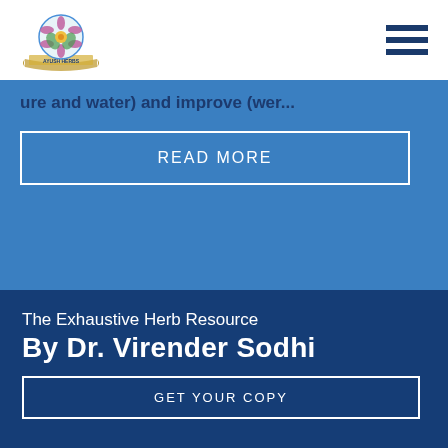Ayush Herbs – navigation bar with logo and hamburger menu
ture and water) and improve (we...
READ MORE
The Exhaustive Herb Resource
By Dr. Virender Sodhi
GET YOUR COPY